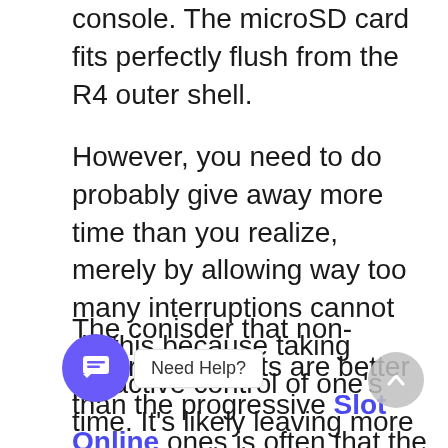console. The microSD card fits perfectly flush from the R4 outer shell.
However, you need to do probably give away more time than you realize, merely by allowing way too many interruptions cannot do this because taking proactive control of one's time. It's likely leaving more to chance than choice.
The conisder that non-progressive slots are better than the progressive Slot Online ones is often that the non-progressive has lesser jackpot multitude. Casinos around the world give escalating jackpot amount in progressive makes things more alluring to a regarding players. But, the winning odds throughout these slots are very low and incredibly difficult. That